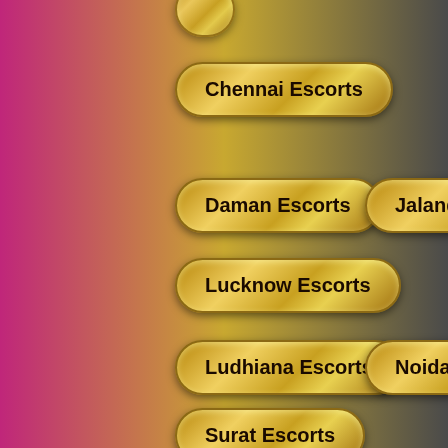Chennai Escorts
Daman Escorts
Jalandhar Escorts
Lucknow Escorts
Ludhiana Escorts
Noida Escorts
Surat Escorts